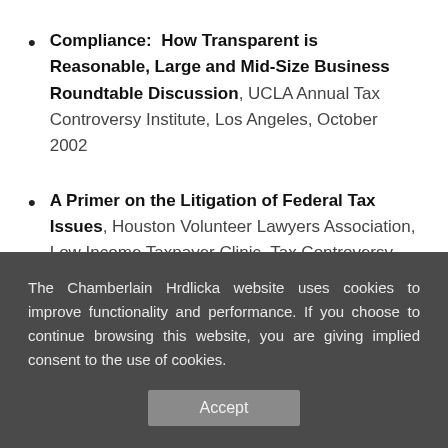Compliance: How Transparent is Reasonable, Large and Mid-Size Business Roundtable Discussion, UCLA Annual Tax Controversy Institute, Los Angeles, October 2002
A Primer on the Litigation of Federal Tax Issues, Houston Volunteer Lawyers Association, Low Income Taxpayer Clinic, Tax Controversy Workshop, Houston,
The Chamberlain Hrdlicka website uses cookies to improve functionality and performance. If you choose to continue browsing this website, you are giving implied consent to the use of cookies.